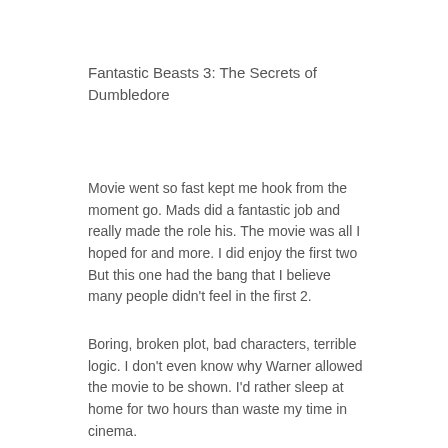Fantastic Beasts 3: The Secrets of Dumbledore
Movie went so fast kept me hook from the moment go. Mads did a fantastic job and really made the role his. The movie was all I hoped for and more. I did enjoy the first two But this one had the bang that I believe many people didn't feel in the first 2.
Boring, broken plot, bad characters, terrible logic. I don't even know why Warner allowed the movie to be shown. I'd rather sleep at home for two hours than waste my time in cinema.